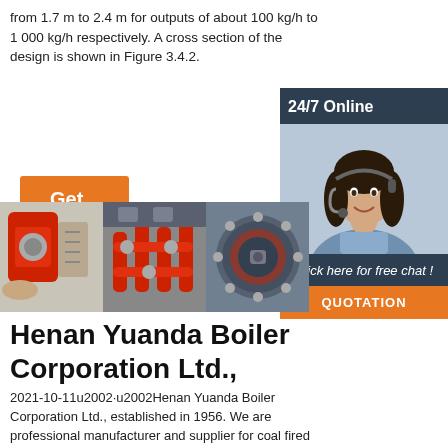from 1.7 m to 2.4 m for outputs of about 100 kg/h to 1 000 kg/h respectively. A cross section of the design is shown in Figure 3.4.2.
[Figure (other): Orange 'Get Price' button]
[Figure (other): 24/7 online chat widget with agent photo and QUOTATION button]
[Figure (photo): Three industrial boiler equipment photos side by side]
Henan Yuanda Boiler Corporation Ltd.,
2021-10-11u2002·u2002Henan Yuanda Boiler Corporation Ltd., established in 1956. We are professional manufacturer and supplier for coal fired boiler,gas fired boiler,biomass fired boiler,wood chip fired boiler,oil fired boiler,wood pellet fired boiler,industrial boiler,